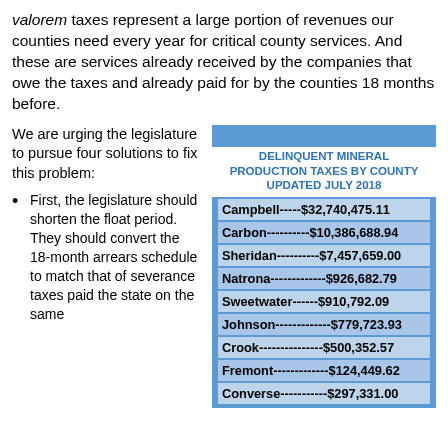valorem taxes represent a large portion of revenues our counties need every year for critical county services. And these are services already received by the companies that owe the taxes and already paid for by the counties 18 months before.
We are urging the legislature to pursue four solutions to fix this problem:
First, the legislature should shorten the float period. They should convert the 18-month arrears schedule to match that of severance taxes paid the state on the same
| County | Amount |
| --- | --- |
| Campbell | $32,740,475.11 |
| Carbon | $10,386,688.94 |
| Sheridan | $7,457,659.00 |
| Natrona | $926,682.79 |
| Sweetwater | $910,792.09 |
| Johnson | $779,723.93 |
| Crook | $500,352.57 |
| Fremont | $124,449.62 |
| Converse | $297,331.00 |